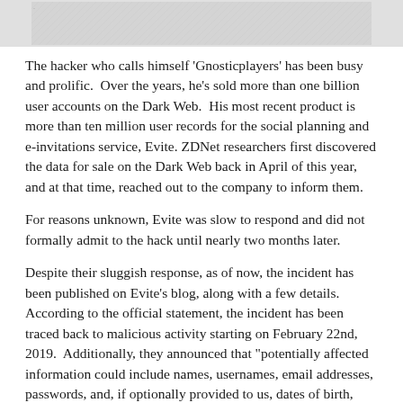[Figure (photo): Partially visible image at top of page, appears to be a decorative or contextual banner image, mostly light grey/white tones.]
The hacker who calls himself 'Gnosticplayers' has been busy and prolific.  Over the years, he's sold more than one billion user accounts on the Dark Web.  His most recent product is more than ten million user records for the social planning and e-invitations service, Evite. ZDNet researchers first discovered the data for sale on the Dark Web back in April of this year, and at that time, reached out to the company to inform them.
For reasons unknown, Evite was slow to respond and did not formally admit to the hack until nearly two months later.
Despite their sluggish response, as of now, the incident has been published on Evite's blog, along with a few details.  According to the official statement, the incident has been traced back to malicious activity starting on February 22nd, 2019.  Additionally, they announced that "potentially affected information could include names, usernames, email addresses, passwords, and, if optionally provided to us, dates of birth, phone numbers, and mailing addresses."
At this point, we don't know if the ten million records already